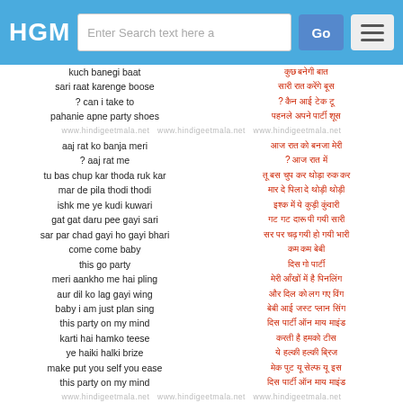HGM | Enter Search text here a | Go
kuch banegi baat / कुछ बनेगी बात
sari raat karenge boose / सारी रात करेंगे बूस
? can i take to / ? कैन आई टेक टू
pahanie apne party shoes / पहनले अपने पार्टी शूस
aaj rat ko banja meri / आज रात को बनजा मेरी
? aaj rat me / ? आज रात में
tu bas chup kar thoda ruk kar / तू बस चुप कर थोड़ा रुक कर
mar de pila thodi thodi / मार दे पिला दे थोड़ी थोड़ी
ishk me ye kudi kuwari / इश्क में ये कुड़ी कुंवारी
gat gat daru pee gayi sari / गट गट दारू पी गयी सारी
sar par chad gayi ho gayi bhari / सर पर चढ़ गयी हो गयी भारी
come come baby / कम कम बेबी
this go party / दिस गो पार्टी
meri aankho me hai pling / मेरी आँखों में है पिनलिंग
aur dil ko lag gayi wing / और दिल को लग गए विंग
baby i am just plan sing / बेबी आई जस्ट प्लान सिंग
this party on my mind / दिस पार्टी ऑन माय माइंड
karti hai hamko teese / करती है हमको टीस
ye haiki halki brize / ये हल्की हल्की ब्रिज
make put you self you ease / मेक पुट यू सेल्फ यू इस
this party on my mind / दिस पार्टी ऑन माय माइंड
phir apni hogi yari / फिर अपनी होगी यारी
kadmo me dunia sari / कदमों में दुनिया सारी
tujhko nachau to dunia bhulau to / तुझको नचाऊं तो दुनिया भुलाऊ तो
kahde hai dil me jo / कहदे है दिल में जो
pagal panthi ho baby / पागल पंथी हो बेबी
apni hi chede ghanti / अपनी ही छेड़े घंटी
? spread it on / ? स्प्रेड इट ऑन
phir chakkar aane do / फिर चक्कर आने दो
baho me kho bhi lo / बाँहों में खो भी लो